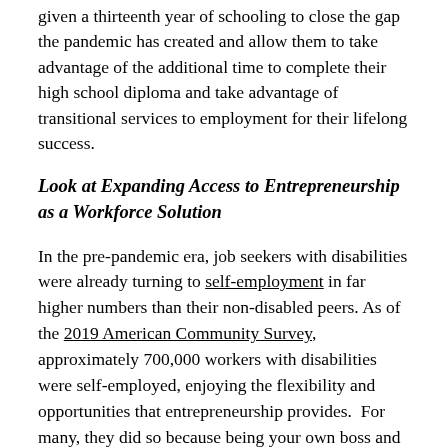given a thirteenth year of schooling to close the gap the pandemic has created and allow them to take advantage of the additional time to complete their high school diploma and take advantage of transitional services to employment for their lifelong success.
Look at Expanding Access to Entrepreneurship as a Workforce Solution
In the pre-pandemic era, job seekers with disabilities were already turning to self-employment in far higher numbers than their non-disabled peers. As of the 2019 American Community Survey, approximately 700,000 workers with disabilities were self-employed, enjoying the flexibility and opportunities that entrepreneurship provides.  For many, they did so because being your own boss and owning a small business served as an end-run around the barriers to employment that hold back far too many people with disabilities, helping their...